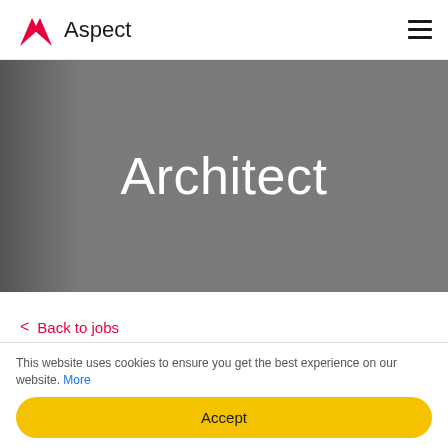[Figure (logo): Aspect logo with red angular A icon and 'Aspect' text in dark color]
[Figure (photo): Gray hero banner with 'Architect' in large white text, partial photo visible on left side]
< Back to jobs
Architect
This website uses cookies to ensure you get the best experience on our website. More
Accept